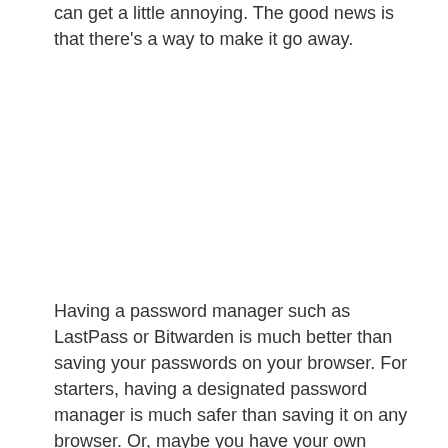can get a little annoying. The good news is that there's a way to make it go away.
Having a password manager such as LastPass or Bitwarden is much better than saving your passwords on your browser. For starters, having a designated password manager is much safer than saving it on any browser. Or, maybe you have your own password system and just want Google to stop asking you to save your login information.